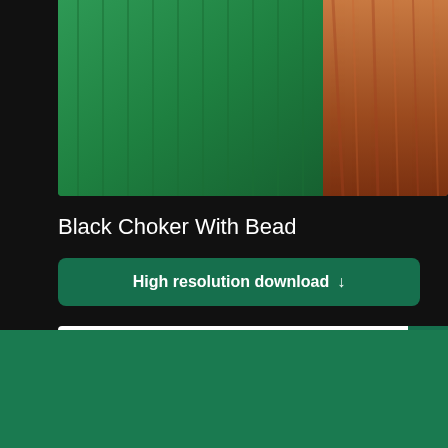[Figure (photo): Photo of a woman wearing a bright green knit sweater with auburn/red hair visible on the right side]
Black Choker With Bead
[Figure (screenshot): A green download button reading 'High resolution download' with a downward arrow]
[Figure (screenshot): A white product image panel with a small grey product visible at bottom left, and a green X close button at top right]
[Figure (logo): Shopify logo with shopping bag icon and italic 'shopify' text on green background]
Need an online store for your business?
Start free trial